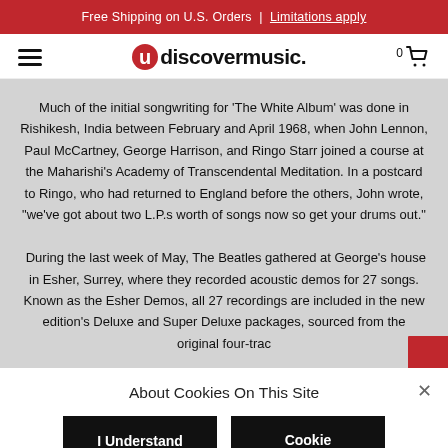Free Shipping on U.S. Orders | Limitations apply
[Figure (logo): uDiscover Music logo with red circular U and black text 'discovermusic.']
Much of the initial songwriting for 'The White Album' was done in Rishikesh, India between February and April 1968, when John Lennon, Paul McCartney, George Harrison, and Ringo Starr joined a course at the Maharishi's Academy of Transcendental Meditation. In a postcard to Ringo, who had returned to England before the others, John wrote, "we've got about two L.P.s worth of songs now so get your drums out."
During the last week of May, The Beatles gathered at George's house in Esher, Surrey, where they recorded acoustic demos for 27 songs. Known as the Esher Demos, all 27 recordings are included in the new edition's Deluxe and Super Deluxe packages, sourced from the original four-trac
About Cookies On This Site
I Understand
Cookie Choices